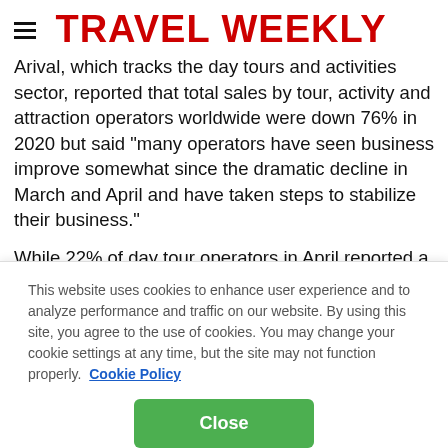TRAVEL WEEKLY
Arival, which tracks the day tours and activities sector, reported that total sales by tour, activity and attraction operators worldwide were down 76% in 2020 but said "many operators have seen business improve somewhat since the dramatic decline in March and April and have taken steps to stabilize their business."
While 22% of day tour operators in April reported a
This website uses cookies to enhance user experience and to analyze performance and traffic on our website. By using this site, you agree to the use of cookies. You may change your cookie settings at any time, but the site may not function properly.  Cookie Policy
Close